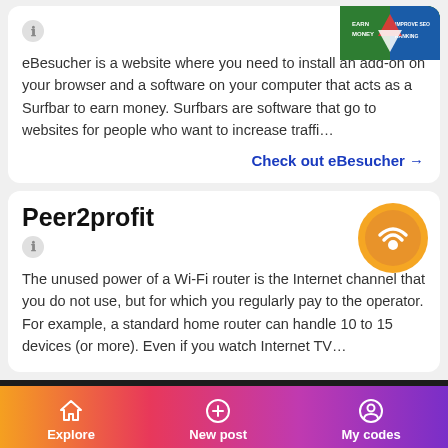eBesucher is a website where you need to install an add-on on your browser and a software on your computer that acts as a Surfbar to earn money. Surfbars are software that go to websites for people who want to increase traffi…
Check out eBesucher →
Peer2profit
The unused power of a Wi-Fi router is the Internet channel that you do not use, but for which you regularly pay to the operator. For example, a standard home router can handle 10 to 15 devices (or more). Even if you watch Internet TV…
🎁 invite friends → earn rewards 🎁
Explore   New post   My codes